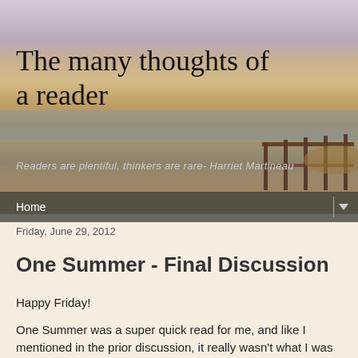[Figure (photo): Beach/coastal scene with sandy shore, calm water, and a wooden dock or pier structure visible on the right side. Sky has a pinkish-purple hue. Serves as the blog header background image.]
The many thoughts of a reader
Readers are plentiful, thinkers are rare- Harriet Martineau
Home
Friday, June 29, 2012
One Summer - Final Discussion
Happy Friday!
One Summer was a super quick read for me, and like I mentioned in the prior discussion, it really wasn't what I was expecting after reading another Baldacci book. It kind of